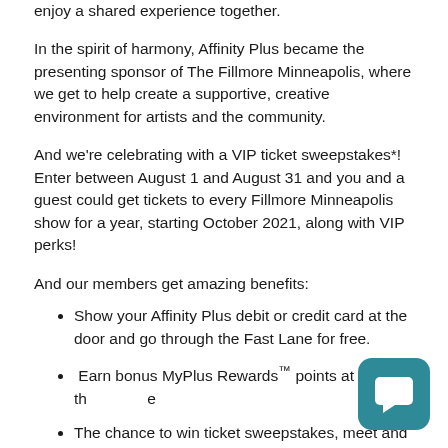enjoy a shared experience together.
In the spirit of harmony, Affinity Plus became the presenting sponsor of The Fillmore Minneapolis, where we get to help create a supportive, creative environment for artists and the community.
And we're celebrating with a VIP ticket sweepstakes*! Enter between August 1 and August 31 and you and a guest could get tickets to every Fillmore Minneapolis show for a year, starting October 2021, along with VIP perks!
And our members get amazing benefits:
Show your Affinity Plus debit or credit card at the door and go through the Fast Lane for free.
Earn bonus MyPlus Rewards™ points at the venue
The chance to win ticket sweepstakes, meet and greets with artists.